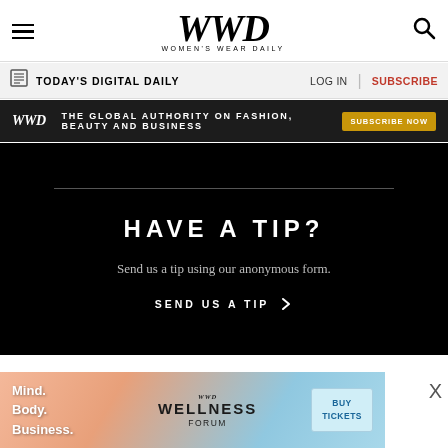WWD — WOMEN'S WEAR DAILY
TODAY'S DIGITAL DAILY   LOG IN   SUBSCRIBE
[Figure (infographic): WWD ad banner: THE GLOBAL AUTHORITY ON FASHION, BEAUTY AND BUSINESS — SUBSCRIBE NOW button]
HAVE A TIP?
Send us a tip using our anonymous form.
SEND US A TIP >
[Figure (logo): PMC logo in black with red chevron accent]
[Figure (infographic): WWD Wellness Forum advertisement banner: Mind. Body. Business. WWD WELLNESS FORUM BUY TICKETS]